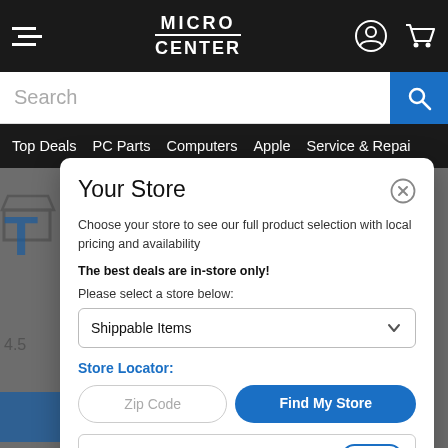Micro Center — navigation header with menu, logo, user icon, cart icon
Search
Top Deals  PC Parts  Computers  Apple  Service & Repair
Your Store
Choose your store to see our full product selection with local pricing and availability
The best deals are in-store only!
Please select a store below:
Shippable Items
Store Locator:
Zip Code
Find My Store
Fairfax    17.4 mi    Shop